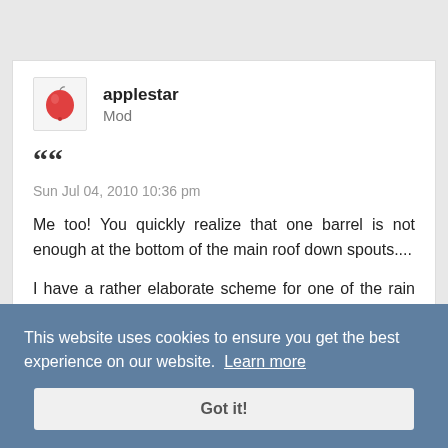[Figure (photo): User avatar icon with red apple/balloon shape on light gray background]
applestar
Mod
““
Sun Jul 04, 2010 10:36 pm
Me too! You quickly realize that one barrel is not enough at the bottom of the main roof down spouts....
I have a rather elaborate scheme for one of the rain barrels and its downspout that is still being noodled, so I haven’t gotten up to it for now, because it goes from empty to overflowing in a few hours when it DOES rain. (In unwatered parts of the yard, the ground is starting to crack....)
This website uses cookies to ensure you get the best experience on our website. Learn more
Got it!